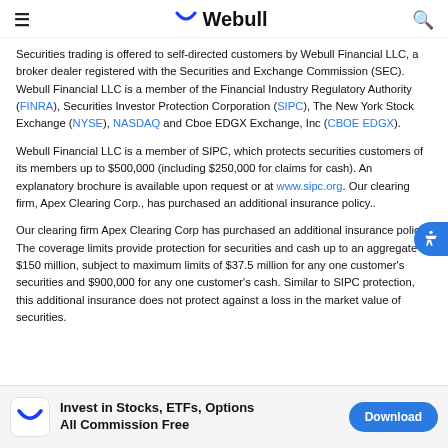Webull
Securities trading is offered to self-directed customers by Webull Financial LLC, a broker dealer registered with the Securities and Exchange Commission (SEC). Webull Financial LLC is a member of the Financial Industry Regulatory Authority (FINRA), Securities Investor Protection Corporation (SIPC), The New York Stock Exchange (NYSE), NASDAQ and Cboe EDGX Exchange, Inc (CBOE EDGX).
Webull Financial LLC is a member of SIPC, which protects securities customers of its members up to $500,000 (including $250,000 for claims for cash). An explanatory brochure is available upon request or at www.sipc.org. Our clearing firm, Apex Clearing Corp., has purchased an additional insurance policy..
Our clearing firm Apex Clearing Corp has purchased an additional insurance policy. The coverage limits provide protection for securities and cash up to an aggregate of $150 million, subject to maximum limits of $37.5 million for any one customer's securities and $900,000 for any one customer's cash. Similar to SIPC protection, this additional insurance does not protect against a loss in the market value of securities.
Invest in Stocks, ETFs, Options All Commission Free